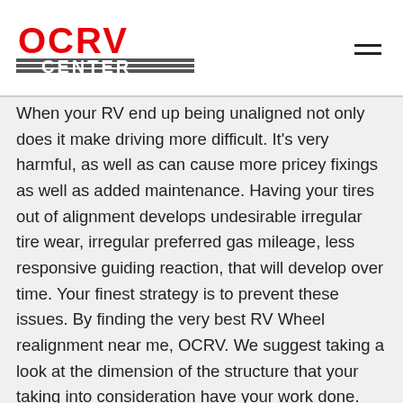OCRV CENTER
When your RV end up being unaligned not only does it make driving more difficult. It's very harmful, as well as can cause more pricey fixings as well as added maintenance. Having your tires out of alignment develops undesirable irregular tire wear, irregular preferred gas mileage, less responsive guiding reaction, that will develop over time. Your finest strategy is to prevent these issues. By finding the very best RV Wheel realignment near me, OCRV. We suggest taking a look at the dimension of the structure that your taking into consideration have your work done. Ask yourself, “Do I have doubts about this area not based upon their ability to do the work but to maintain my high valued belongings shielded after the work is finished. The weight of RV is a consideration to think of the majority of Motor homes are